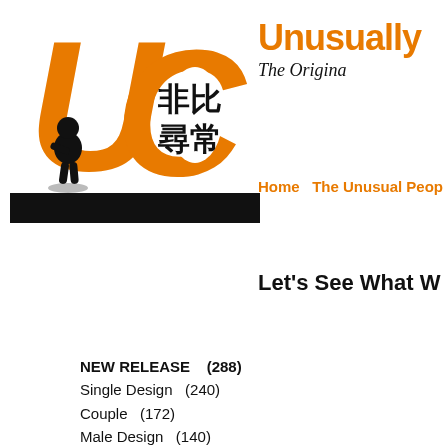[Figure (logo): UC brand logo with orange U and C letters, Chinese characters 非比寻常, and small black character silhouette figure with black ground bar]
Unusually
The Origina
Home   The Unusual Peop
Let's See What W
NEW RELEASE    (288)
Single Design    (240)
Couple    (172)
Male Design    (140)
Female Design    (111)